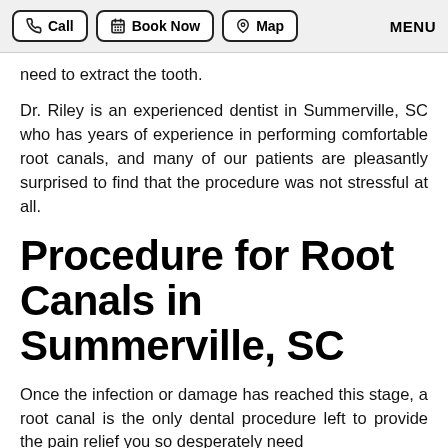Call | Book Now | Map | MENU
need to extract the tooth.
Dr. Riley is an experienced dentist in Summerville, SC who has years of experience in performing comfortable root canals, and many of our patients are pleasantly surprised to find that the procedure was not stressful at all.
Procedure for Root Canals in Summerville, SC
Once the infection or damage has reached this stage, a root canal is the only dental procedure left to provide the pain relief you so desperately need